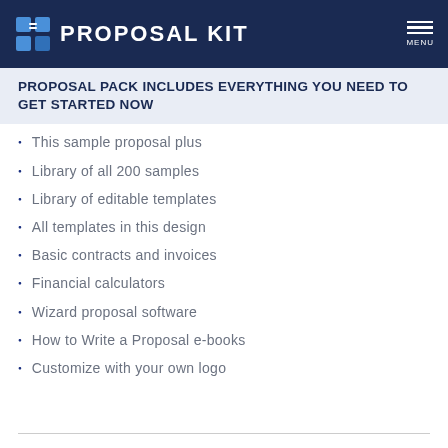Proposal Kit
PROPOSAL PACK INCLUDES EVERYTHING YOU NEED TO GET STARTED NOW
This sample proposal plus
Library of all 200 samples
Library of editable templates
All templates in this design
Basic contracts and invoices
Financial calculators
Wizard proposal software
How to Write a Proposal e-books
Customize with your own logo